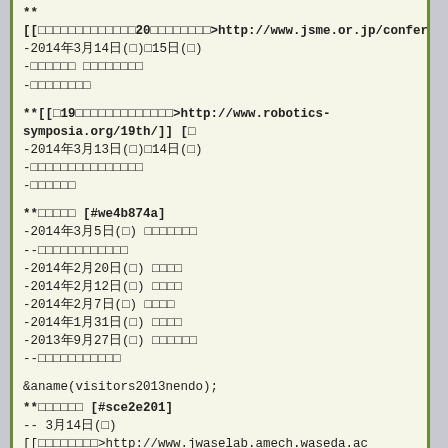**[[□□□□□□□□□□□□□20□□□□□□□□>http://www.jsme.or.jp/conference/ktco
-2014年3月14日(□)□15日(□)
-□□□□□□ □□□□□□□□
-□□□□□□□□
**[[□19□□□□□□□□□□□□□>http://www.robotics-symposia.org/19th/]] [□
-2014年3月13日(□)□14日(□)
-□□□□□□□□□□□□□□□
-□□□□□□
**□□□□□ [#we4b874a]
-2014年3月5日(□) □□□□□□□
--□□□□□□□□□□□□
-2014年2月20日(□) □□□□
-2014年2月12日(□) □□□□
-2014年2月7日(□) □□□□
-2014年1月31日(□) □□□□
-2013年9月27日(□) □□□□□□
--□□□□□□□□□□□
&aname(visitors2013nendo);
**□□□□□□ [#sce2e201]
-- 3月14日(□) [[□□□□□□□□>http://www.jwaselab.amech.waseda.ac